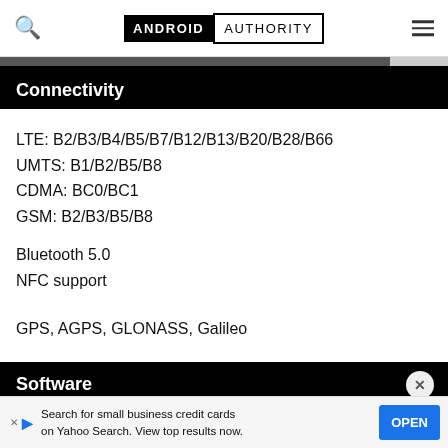ANDROID AUTHORITY
Connectivity
LTE: B2/B3/B4/B5/B7/B12/B13/B20/B28/B66
UMTS: B1/B2/B5/B8
CDMA: BC0/BC1
GSM: B2/B3/B5/B8
Bluetooth 5.0
NFC support
GPS, AGPS, GLONASS, Galileo
Software
Android 9 P
Search for small business credit cards on Yahoo Search. View top results now.